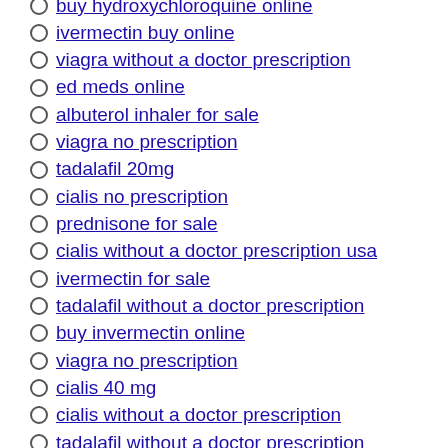buy hydroxychloroquine online
ivermectin buy online
viagra without a doctor prescription
ed meds online
albuterol inhaler for sale
viagra no prescription
tadalafil 20mg
cialis no prescription
prednisone for sale
cialis without a doctor prescription usa
ivermectin for sale
tadalafil without a doctor prescription
buy invermectin online
viagra no prescription
cialis 40 mg
cialis without a doctor prescription
tadalafil without a doctor prescription
hydroxychloroquine over the counter
hydroxychloroquine for sale
where to get ivermectin
ivermectin for sale
https://ivermectine.forsale/
https://ivermectinkaufen.at
https://ivermectinforhumans.forsale/
ivermectin for humans for sale
over the counter viagra